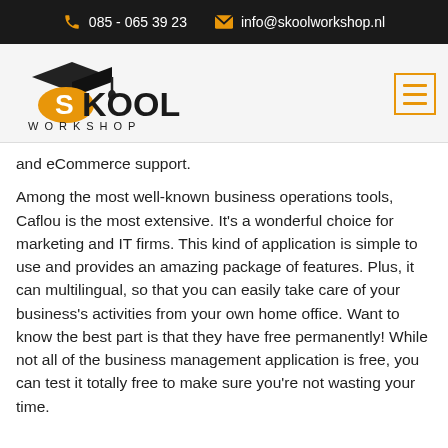085 - 065 39 23   info@skoolworkshop.nl
[Figure (logo): Skool Workshop logo with graduation cap and orange S letter, text SKOOL WORKSHOP]
and eCommerce support.
Among the most well-known business operations tools, Caflou is the most extensive. It's a wonderful choice for marketing and IT firms. This kind of application is simple to use and provides an amazing package of features. Plus, it can multilingual, so that you can easily take care of your business's activities from your own home office. Want to know the best part is that they have free permanently! While not all of the business management application is free, you can test it totally free to make sure you're not wasting your time.